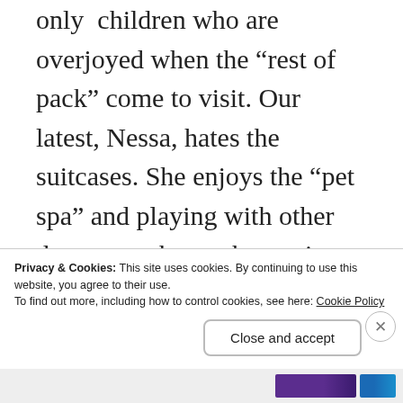only children who are overjoyed when the “rest of pack” come to visit. Our latest, Nessa, hates the suitcases. She enjoys the “pet spa” and playing with other dogs once there…but resists leaving her home and her yard. I guess squirrels are not foolish enough to visit the play yard at the kennel, crazy critters, and they don’t lure birds into building nearby nests with feeders! So, she is glad to come home to
Privacy & Cookies: This site uses cookies. By continuing to use this website, you agree to their use.
To find out more, including how to control cookies, see here: Cookie Policy
Close and accept